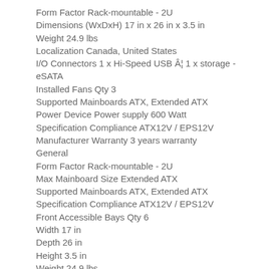Form Factor Rack-mountable - 2U
Dimensions (WxDxH) 17 in x 26 in x 3.5 in
Weight 24.9 lbs
Localization Canada, United States
I/O Connectors 1 x Hi-Speed USB Â¦ 1 x storage - eSATA
Installed Fans Qty 3
Supported Mainboards ATX, Extended ATX
Power Device Power supply 600 Watt
Specification Compliance ATX12V / EPS12V
Manufacturer Warranty 3 years warranty
General
Form Factor Rack-mountable - 2U
Max Mainboard Size Extended ATX
Supported Mainboards ATX, Extended ATX
Specification Compliance ATX12V / EPS12V
Front Accessible Bays Qty 6
Width 17 in
Depth 26 in
Height 3.5 in
Weight 24.9 lbs
Fans 3 x 8 cm - ( 3 installed)
Localization Canada, United States
Expansion / Connectivity
Expansion Slots Total (Free) 3 expansion slot